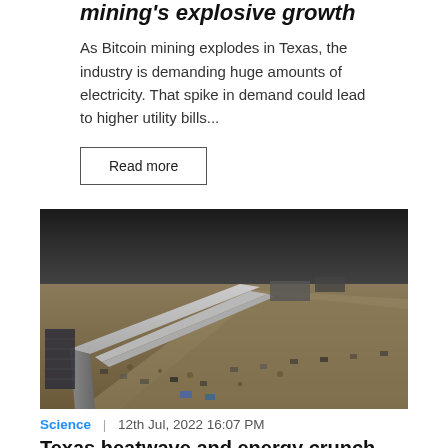mining's explosive growth
As Bitcoin mining explodes in Texas, the industry is demanding huge amounts of electricity. That spike in demand could lead to higher utility bills...
Read more
[Figure (photo): Aerial view of a large Bitcoin mining facility under construction in Texas, showing long industrial buildings and equipment on bare earth]
Science | 12th Jul, 2022 16:07 PM
Texas heatwave and energy crunch curtails Bitcoin mining
Bitcoin miners in Texas powered down to respond to an